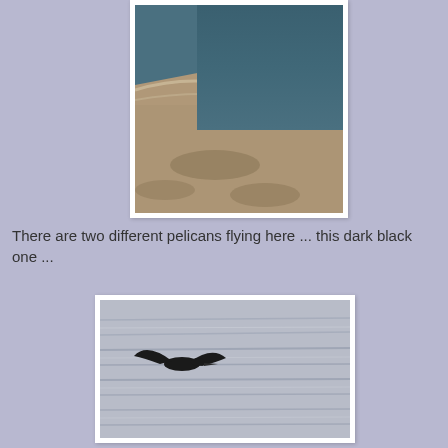[Figure (photo): Aerial or close-up view of a sandy beach shoreline meeting water, with rocks visible. Sandy/pebbly texture in warm tones, blue water on the right side.]
There are two different pelicans flying here ... this dark black one ...
[Figure (photo): A dark black pelican or large bird flying low over calm water with a blurred, grey-toned background of gentle waves.]